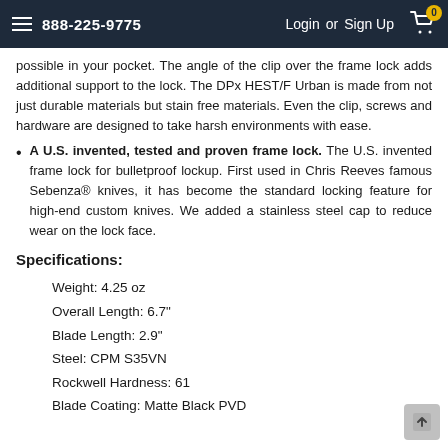888-225-9775  Login or Sign Up  [Cart: 0]
possible in your pocket. The angle of the clip over the frame lock adds additional support to the lock. The DPx HEST/F Urban is made from not just durable materials but stain free materials. Even the clip, screws and hardware are designed to take harsh environments with ease.
A U.S. invented, tested and proven frame lock. The U.S. invented frame lock for bulletproof lockup. First used in Chris Reeves famous Sebenza® knives, it has become the standard locking feature for high-end custom knives. We added a stainless steel cap to reduce wear on the lock face.
Specifications:
Weight: 4.25 oz
Overall Length: 6.7"
Blade Length: 2.9"
Steel: CPM S35VN
Rockwell Hardness: 61
Blade Coating: Matte Black PVD